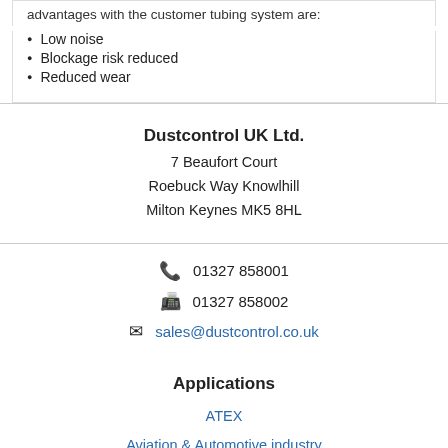advantages with the customer tubing system are:
Low noise
Blockage risk reduced
Reduced wear
Dustcontrol UK Ltd.
7 Beaufort Court
Roebuck Way Knowlhill
Milton Keynes MK5 8HL
01327 858001
01327 858002
sales@dustcontrol.co.uk
Applications
ATEX
Aviation & Automotive industry
Ceramic Industry